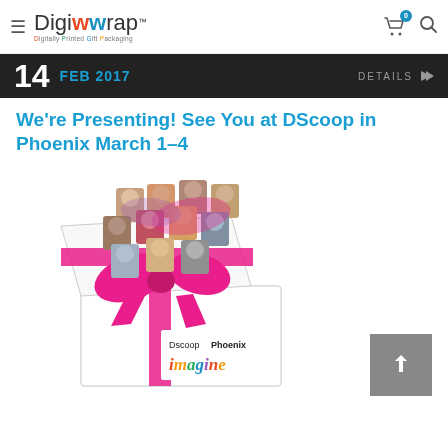Digiwrap - Digitally Printed Gift Packaging
14 FEB 2017 DETAILS
We're Presenting! See You at DScoop in Phoenix March 1–4
[Figure (photo): A white gift box with a pink ribbon and bow, open lid showing photos of multiple people emerging from the box. The box is printed with 'DscoopPhoenix imagine' branding.]